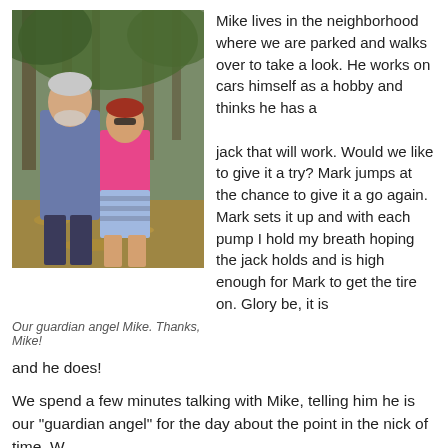[Figure (photo): Two people standing outdoors under trees — an older man with white hair wearing a blue shirt, and a woman with red hair wearing a pink top and striped shorts.]
Our guardian angel Mike. Thanks, Mike!
Mike lives in the neighborhood where we are parked and walks over to take a look. He works on cars himself as a hobby and thinks he has a
jack that will work. Would we like to give it a try? Mark jumps at the chance to give it a go again. Mark sets it up and with each pump I hold my breath hoping the jack holds and is high enough for Mark to get the tire on. Glory be, it is
and he does!
We spend a few minutes talking with Mike, telling him he is our "guardian angel" for the day about the point in the nick of time. W…